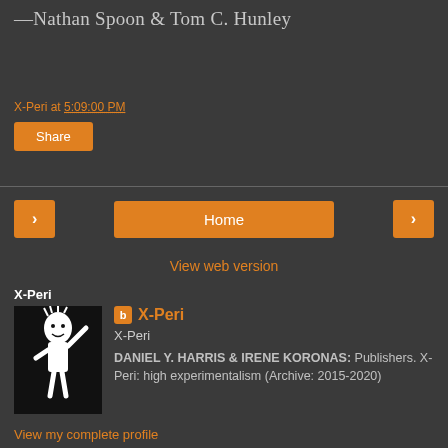—Nathan Spoon & Tom C. Hunley
X-Peri at 5:09:00 PM
Share
< Home >
View web version
X-Peri
[Figure (illustration): Black and white illustration of a stylized figure raising one arm, on dark background.]
X-Peri
X-Peri
DANIEL Y. HARRIS & IRENE KORONAS: Publishers. X-Peri: high experimentalism (Archive: 2015-2020)
View my complete profile